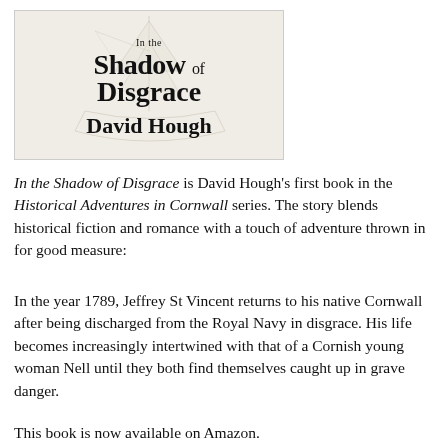[Figure (illustration): Book cover for 'In the Shadow of Disgrace' by David Hough, showing a sailing ship sketch in the background with the title and author name in bold serif text.]
In the Shadow of Disgrace is David Hough's first book in the Historical Adventures in Cornwall series. The story blends historical fiction and romance with a touch of adventure thrown in for good measure:
In the year 1789, Jeffrey St Vincent returns to his native Cornwall after being discharged from the Royal Navy in disgrace. His life becomes increasingly intertwined with that of a Cornish young woman Nell until they both find themselves caught up in grave danger.
This book is now available on Amazon.